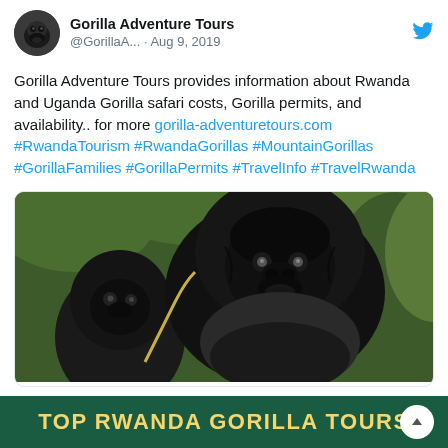Gorilla Adventure Tours @GorillaA... · Aug 9, 2019
Gorilla Adventure Tours provides information about Rwanda and Uganda Gorilla safari costs, Gorilla permits, and availability.. for more gorilla-adventuretours.com #RwandaTourism #RwandaGorillas #MountainGorillas #GorillaFamilies #GorillaPermits #TravelInfo #TravelRwanda
[Figure (photo): Close-up photo of two mountain gorillas, an adult and a juvenile, with lush green vegetation in the background.]
TOP RWANDA GORILLA TOURS